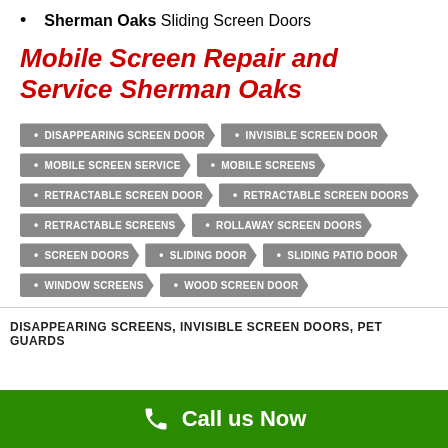Sherman Oaks Sliding Screen Doors
Mobile Screen Repair and Service Sherman Oaks
DISAPPEARING SCREEN DOOR
INVISIBLE SCREEN DOOR
MOBILE SCREEN SERVICE
MOBILE SCREENS
RETRACTABLE SCREEN DOOR
RETRACTABLE SCREEN DOORS
RETRACTABLE SCREENS
ROLLAWAY SCREEN DOORS
SCREEN DOORS
SLIDING DOOR
SLIDING PATIO DOOR
WINDOW SCREENS
WOOD SCREEN DOOR
DISAPPEARING SCREENS, INVISIBLE SCREEN DOORS, PET GUARDS
Call us Now